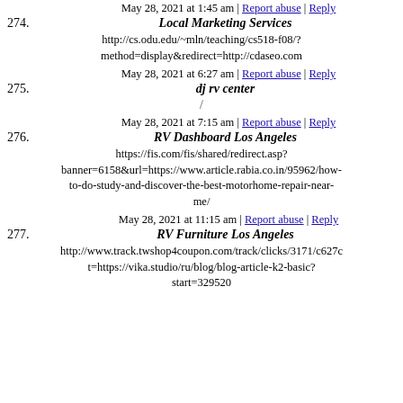May 28, 2021 at 1:45 am | Report abuse | Reply
274. Local Marketing Services
http://cs.odu.edu/~mln/teaching/cs518-f08/?method=display&redirect=http://cdaseo.com
May 28, 2021 at 6:27 am | Report abuse | Reply
275. dj rv center
/
May 28, 2021 at 7:15 am | Report abuse | Reply
276. RV Dashboard Los Angeles
https://fis.com/fis/shared/redirect.asp?banner=6158&url=https://www.article.rabia.co.in/95962/how-to-do-study-and-discover-the-best-motorhome-repair-near-me/
May 28, 2021 at 11:15 am | Report abuse | Reply
277. RV Furniture Los Angeles
http://www.track.twshop4coupon.com/track/clicks/3171/c627c...t=https://vika.studio/ru/blog/blog-article-k2-basic?start=329520